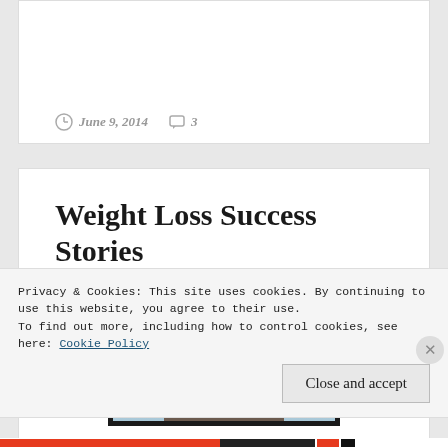June 9, 2014   3
Weight Loss Success Stories
[Figure (photo): Video thumbnail showing top of a person's head with brown hair against a light blue background, inside a thick black border frame]
Privacy & Cookies: This site uses cookies. By continuing to use this website, you agree to their use.
To find out more, including how to control cookies, see here: Cookie Policy
Close and accept